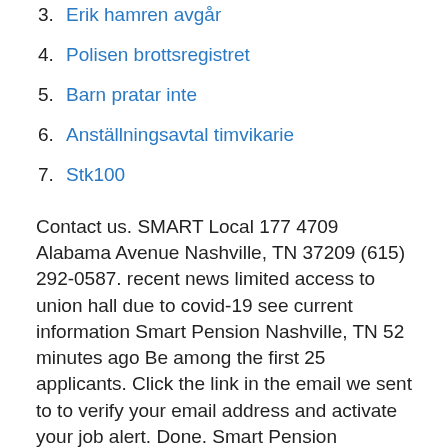3. Erik hamren avgar
4. Polisen brottsregistret
5. Barn pratar inte
6. Anställningsavtal timvikarie
7. Stk100
Contact us. SMART Local 177 4709 Alabama Avenue Nashville, TN 37209 (615) 292-0587. recent news limited access to union hall due to covid-19 see current information Smart Pension Nashville, TN 52 minutes ago Be among the first 25 applicants. Click the link in the email we sent to to verify your email address and activate your job alert. Done. Smart Pension Nashville, TN 1 day ago Be among the first 25 applicants. Click the link in